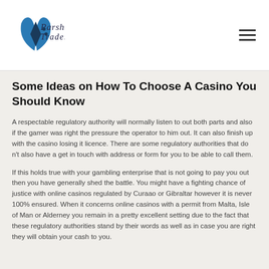Parshwa Traders
Some Ideas on How To Choose A Casino You Should Know
A respectable regulatory authority will normally listen to out both parts and also if the gamer was right the pressure the operator to him out. It can also finish up with the casino losing it licence. There are some regulatory authorities that do n't also have a get in touch with address or form for you to be able to call them.
If this holds true with your gambling enterprise that is not going to pay you out then you have generally shed the battle. You might have a fighting chance of justice with online casinos regulated by Curaao or Gibraltar however it is never 100% ensured. When it concerns online casinos with a permit from Malta, Isle of Man or Alderney you remain in a pretty excellent setting due to the fact that these regulatory authorities stand by their words as well as in case you are right they will obtain your cash to you.